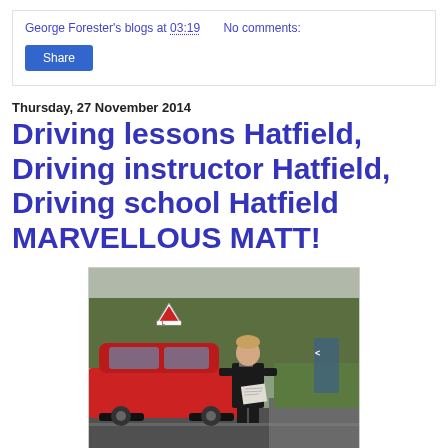George Forester's blogs at 03:19   No comments:
Share
Thursday, 27 November 2014
Driving lessons Hatfield, Driving instructor Hatfield, Driving school Hatfield MARVELLOUS MATT!
[Figure (photo): Young man in black jacket standing next to a red car with an L-plate driving instructor sign on the roof, holding a document, photographed outdoors with trees in the background]